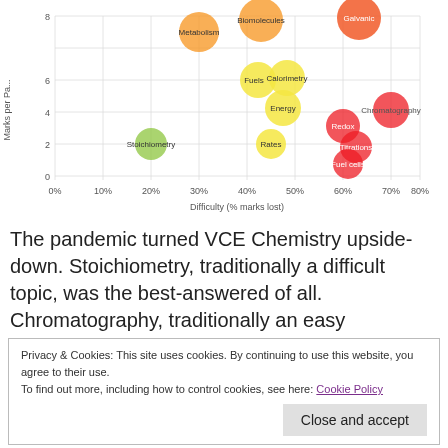[Figure (bubble-chart): VCE Chemistry topics: Difficulty vs Marks per Paper]
The pandemic turned VCE Chemistry upside-down. Stoichiometry, traditionally a difficult topic, was the best-answered of all. Chromatography, traditionally an easy
Privacy & Cookies: This site uses cookies. By continuing to use this website, you agree to their use. To find out more, including how to control cookies, see here: Cookie Policy
Close and accept
here.)